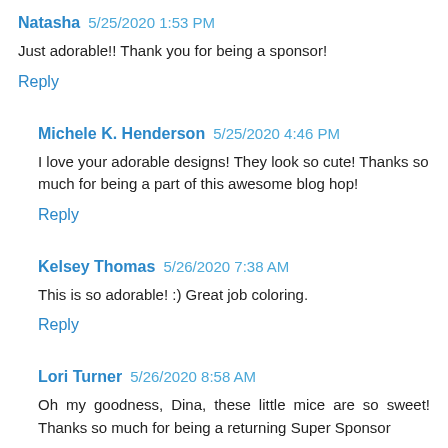Natasha 5/25/2020 1:53 PM
Just adorable!! Thank you for being a sponsor!
Reply
Michele K. Henderson 5/25/2020 4:46 PM
I love your adorable designs! They look so cute! Thanks so much for being a part of this awesome blog hop!
Reply
Kelsey Thomas 5/26/2020 7:38 AM
This is so adorable! :) Great job coloring.
Reply
Lori Turner 5/26/2020 8:58 AM
Oh my goodness, Dina, these little mice are so sweet! Thanks so much for being a returning Super Sponsor